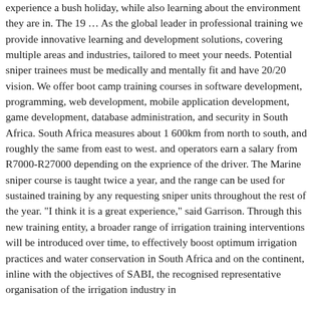experience a bush holiday, while also learning about the environment they are in. The 19 … As the global leader in professional training we provide innovative learning and development solutions, covering multiple areas and industries, tailored to meet your needs. Potential sniper trainees must be medically and mentally fit and have 20/20 vision. We offer boot camp training courses in software development, programming, web development, mobile application development, game development, database administration, and security in South Africa. South Africa measures about 1 600km from north to south, and roughly the same from east to west. and operators earn a salary from R7000-R27000 depending on the exprience of the driver. The Marine sniper course is taught twice a year, and the range can be used for sustained training by any requesting sniper units throughout the rest of the year. "I think it is a great experience," said Garrison. Through this new training entity, a broader range of irrigation training interventions will be introduced over time, to effectively boost optimum irrigation practices and water conservation in South Africa and on the continent, inline with the objectives of SABI, the recognised representative organisation of the irrigation industry in